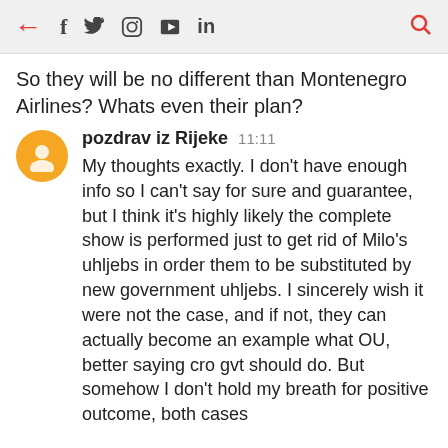← f 𝕏 ⓘ ▶ in 🔍
So they will be no different than Montenegro Airlines? Whats even their plan?
pozdrav iz Rijeke  11:11
My thoughts exactly. I don't have enough info so I can't say for sure and guarantee, but I think it's highly likely the complete show is performed just to get rid of Milo's uhljebs in order them to be substituted by new government uhljebs. I sincerely wish it were not the case, and if not, they can actually become an example what OU, better saying cro gvt should do. But somehow I don't hold my breath for positive outcome, both cases
Unknown  17:22